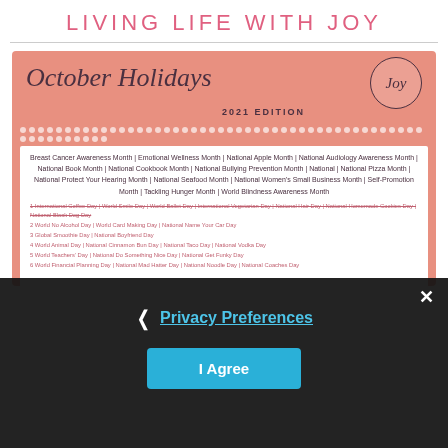LIVING LIFE WITH JOY
[Figure (infographic): October Holidays 2021 Edition infographic card with salmon/coral background, cursive title 'October Holidays', '2021 EDITION' text, a 'Joy' circular badge, rows of dots, and a white content area listing monthly observances and daily holidays for October.]
Breast Cancer Awareness Month | Emotional Wellness Month | National Apple Month | National Audiology Awareness Month | National Book Month | National Cookbook Month | National Bullying Prevention Month | National | National Pizza Month | National Protect Your Hearing Month | National Seafood Month | National Women's Small Business Month | Self-Promotion Month | Tackling Hunger Month | World Blindness Awareness Month
1 International Coffee Day | World Smile Day | World Ballet Day | International Vegetarian Day | National Hair Day | National Homemade Cookies Day | National Black Dog Day
2 World No Alcohol Day | World Card Making Day | National Name Your Car Day
3 Global Smoothie Day | National Boyfriend Day
4 World Animal Day | National Cinnamon Bun Day | National Taco Day | National Vodka Day
5 World Teachers' Day | National Do Something Nice Day | National Get Funky Day
Privacy Preferences
I Agree